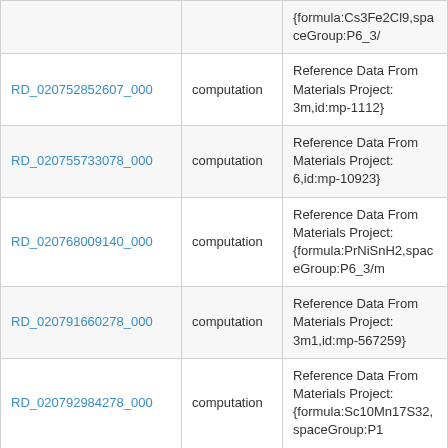| ID | Type | Description |
| --- | --- | --- |
|  |  | {formula:Cs3Fe2Cl9,spaceGroup:P6_3/ |
| RD_020752852607_000 | computation | Reference Data From Materials Project: 3m,id:mp-1112} |
| RD_020755733078_000 | computation | Reference Data From Materials Project: 6,id:mp-10923} |
| RD_020768009140_000 | computation | Reference Data From Materials Project: {formula:PrNiSnH2,spaceGroup:P6_3/m |
| RD_020791660278_000 | computation | Reference Data From Materials Project: 3m1,id:mp-567259} |
| RD_020792984278_000 | computation | Reference Data From Materials Project: {formula:Sc10Mn17S32,spaceGroup:P1 |
| RD_020801198410_000 | computation | Reference Data From Materials Project: {formula:LiFeP2O7,spaceGroup:Pc,id:m |
| RD_020802143969_000 | computation | Reference Data From Materials Project: {formula:CoH17S2N5ClO4,spaceGroup |
| RD_020803349035_000 | computation | Reference Data From Materials Project: {formula:Nd2Ge5Rh3,spaceGroup:Imcb |
| RD_020803477765_000 | computation | Reference Data From Materials Project: 3m,id:mp-864909} |